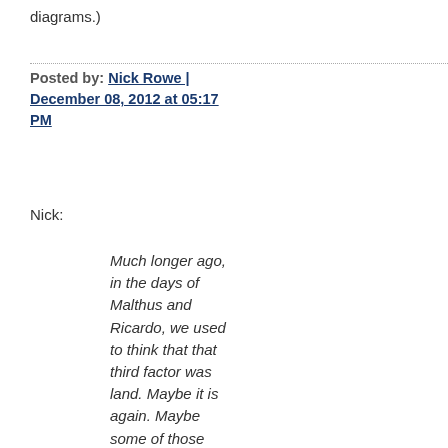diagrams.)
Posted by: Nick Rowe | December 08, 2012 at 05:17 PM
Nick:
Much longer ago, in the days of Malthus and Ricardo, we used to think that that third factor was land. Maybe it is again. Maybe some of those increasing "profits" are really increasing